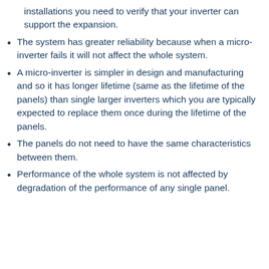installations you need to verify that your inverter can support the expansion.
The system has greater reliability because when a micro-inverter fails it will not affect the whole system.
A micro-inverter is simpler in design and manufacturing and so it has longer lifetime (same as the lifetime of the panels) than single larger inverters which you are typically expected to replace them once during the lifetime of the panels.
The panels do not need to have the same characteristics between them.
Performance of the whole system is not affected by degradation of the performance of any single panel.